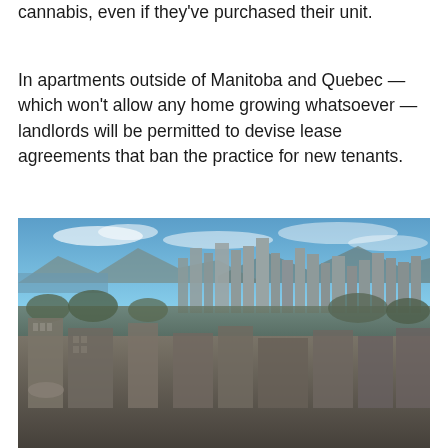cannabis, even if they've purchased their unit.
In apartments outside of Manitoba and Quebec — which won't allow any home growing whatsoever — landlords will be permitted to devise lease agreements that ban the practice for new tenants.
[Figure (photo): Aerial view of a dense urban cityscape with high-rise apartment and office buildings, trees, and a waterfront visible in the background under a partly cloudy blue sky. Likely Vancouver, Canada.]